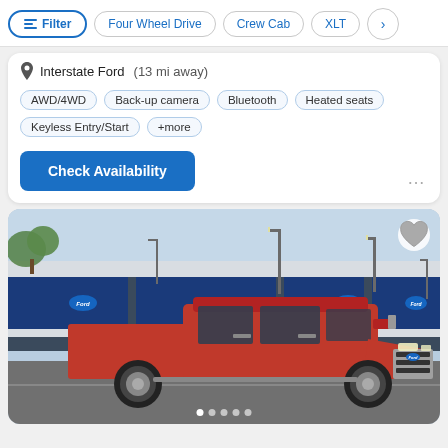Filter | Four Wheel Drive | Crew Cab | XLT
Interstate Ford (13 mi away)
AWD/4WD
Back-up camera
Bluetooth
Heated seats
Keyless Entry/Start
+more
Check Availability
[Figure (photo): Red Ford F-150 pickup truck parked in front of blue and white freight train cars with Ford logos. The truck is a crew cab model shot from the driver's rear quarter view.]